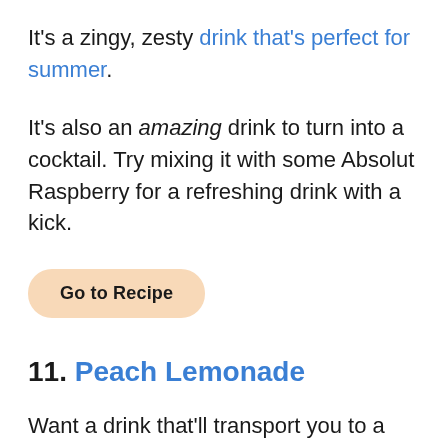It's a zingy, zesty drink that's perfect for summer.
It's also an amazing drink to turn into a cocktail. Try mixing it with some Absolut Raspberry for a refreshing drink with a kick.
Go to Recipe
11. Peach Lemonade
Want a drink that'll transport you to a